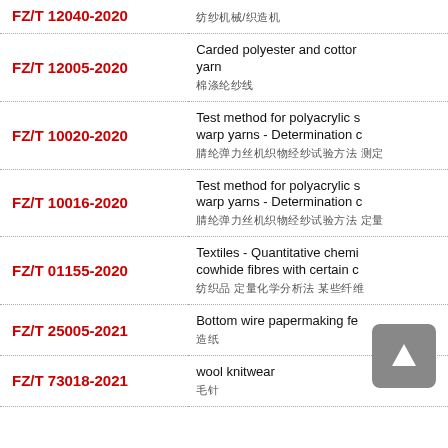| Standard Code | Description |
| --- | --- |
| FZ/T 12040-2020 | 纺纱机械/织造机 |
| FZ/T 12005-2020 | Carded polyester and cotton yarn / 棉涤纶纱线 |
| FZ/T 10020-2020 | Test method for polyacrylic s… warp yarns - Determination o… / 腈纶弹力丝机织物经纱试验方法 测定 |
| FZ/T 10016-2020 | Test method for polyacrylic s… warp yarns - Determination o… / 腈纶弹力丝机织物经纱试验方法 定量 |
| FZ/T 01155-2020 | Textiles - Quantitative chemi… cowhide fibres with certain o… / 纺织品 定量化学分析法 某些纤维 |
| FZ/T 25005-2021 | Bottom wire papermaking fe… / 造纸 |
| FZ/T 73018-2021 | wool knitwear / 毛针 |